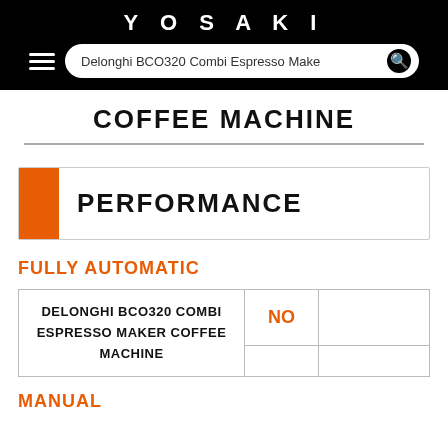YOSAKI
COFFEE MACHINE
PERFORMANCE
FULLY AUTOMATIC
|  |  |  |
| --- | --- | --- |
| DELONGHI BCO320 COMBI ESPRESSO MAKER COFFEE MACHINE | NO |  |
MANUAL